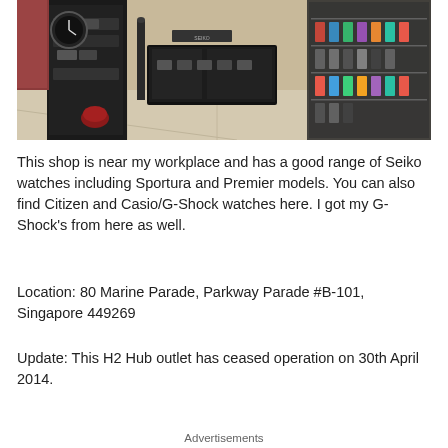[Figure (photo): Interior photo of a watch shop (H2 Hub) showing glass display cases with watches on shelves and counters in a mall setting.]
This shop is near my workplace and has a good range of Seiko watches including Sportura and Premier models. You can also find Citizen and Casio/G-Shock watches here. I got my G-Shock's from here as well.
Location: 80 Marine Parade, Parkway Parade #B-101, Singapore 449269
Update: This H2 Hub outlet has ceased operation on 30th April 2014.
Advertisements